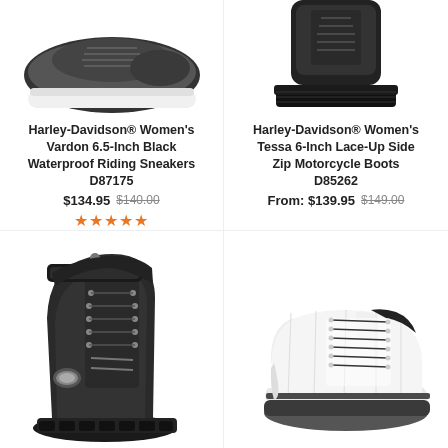[Figure (photo): Harley-Davidson Women's Vardon 6.5-Inch Black Waterproof Riding Sneakers - partial view from bottom, showing white sole on white background]
[Figure (photo): Harley-Davidson Women's Tessa 6-Inch Lace-Up Side Zip Motorcycle Boots - partial view from top, showing black boot with thick black sole on white background]
Harley-Davidson® Women's Vardon 6.5-Inch Black Waterproof Riding Sneakers D87175
$134.95 $140.00 ★★★★★
Harley-Davidson® Women's Tessa 6-Inch Lace-Up Side Zip Motorcycle Boots D85262
From: $139.95 $149.00
[Figure (photo): Harley-Davidson Women's black lace-up ankle boot with aggressive tread sole, metal bar badge on side]
[Figure (photo): White low-top canvas sneaker with black laces and dark outsole, casual style]